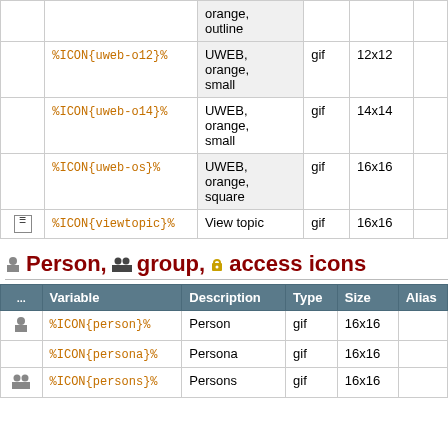|  | Variable | Description | Type | Size | Alias |
| --- | --- | --- | --- | --- | --- |
|  |  | orange, outline |  |  |  |
|  | %ICON{uweb-o12}% | UWEB, orange, small | gif | 12x12 |  |
|  | %ICON{uweb-o14}% | UWEB, orange, small | gif | 14x14 |  |
|  | %ICON{uweb-os}% | UWEB, orange, square | gif | 16x16 |  |
| [icon] | %ICON{viewtopic}% | View topic | gif | 16x16 |  |
Person, group, access icons
|  | Variable | Description | Type | Size | Alias |
| --- | --- | --- | --- | --- | --- |
| [person] | %ICON{person}% | Person | gif | 16x16 |  |
|  | %ICON{persona}% | Persona | gif | 16x16 |  |
| [persons] | %ICON{persons}% | Persons | gif | 16x16 |  |